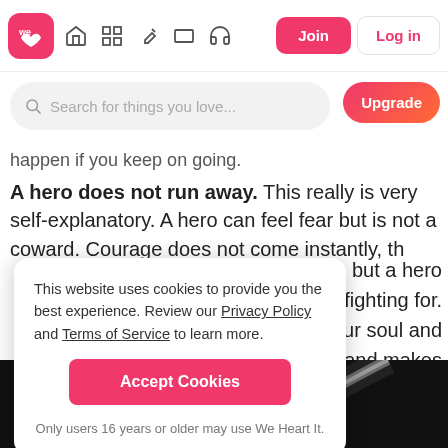We Heart It navigation bar with logo, icons, Join and Log in buttons
Search for things you love...
happen if you keep on going.
A hero does not run away. This really is very self-explanatory. A hero can feel fear but is not a coward. Courage does not come instantly, that is true, but a hero ... th fighting for. ... d for your soul and ... you and makes ... have to struggle.
This website uses cookies to provide you the best experience. Review our Privacy Policy and Terms of Service to learn more.
Accept Cookies
Only users 16 years or older may use We Heart It.
[Figure (photo): Bottom portion of image showing a dark heart shape outline]